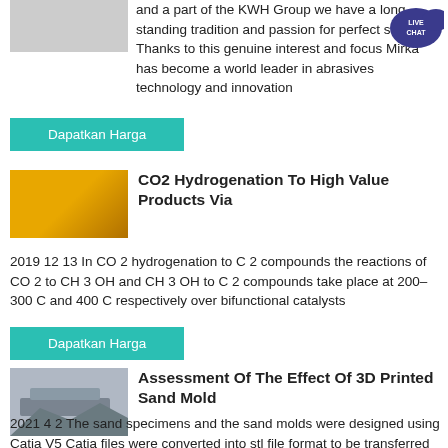and a part of the KWH Group we have a long standing tradition and passion for perfect surfaces Thanks to this genuine interest and focus Mirka has become a world leader in abrasives technology and innovation
Dapatkan Harga
CO2 Hydrogenation To High Value Products Via
2019 12 13 In CO 2 hydrogenation to C 2 compounds the reactions of CO 2 to CH 3 OH and CH 3 OH to C 2 compounds take place at 200–300 C and 400 C respectively over bifunctional catalysts
Dapatkan Harga
Assessment Of The Effect Of 3D Printed Sand Mold
2021 4 2 The sand specimens and the sand molds were designed using Catia V5 Catia files were converted into stl file format to be transferred to NetFabb